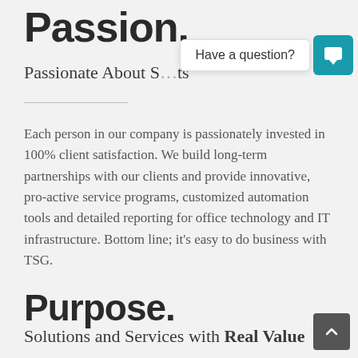Passion.
Passionate About S…ts
Each person in our company is passionately invested in 100% client satisfaction. We build long-term partnerships with our clients and provide innovative, pro-active service programs, customized automation tools and detailed reporting for office technology and IT infrastructure. Bottom line; it's easy to do business with TSG.
Purpose.
Solutions and Services with Real Value